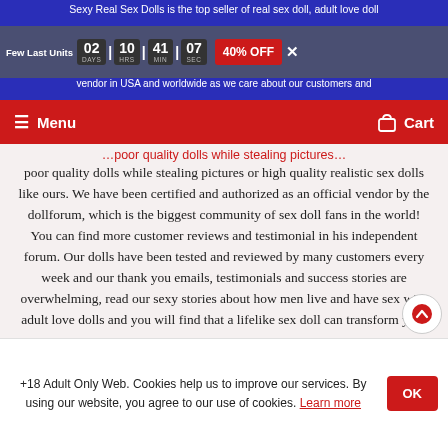Sexy Real Sex Dolls is the top seller of real sex doll, adult love dolls and realistic sex dolls. We have been mentioned on Buzzfeed and are the #1 vendor in USA and worldwide as we care about our customers and
Few Last Units | 02 DAYS | 10 HRS | 41 MIN | 07 SEC | 40% OFF | X
Menu | Cart
poor quality dolls while stealing pictures or high quality realistic sex dolls like ours. We have been certified and authorized as an official vendor by the dollforum, which is the biggest community of sex doll fans in the world! You can find more customer reviews and testimonial in his independent forum. Our dolls have been tested and reviewed by many customers every week and our thank you emails, testimonials and success stories are overwhelming, read our sexy stories about how men live and have sex with adult love dolls and you will find that a lifelike sex doll can transform your life and even your marriage.
+18 Adult Only Web. Cookies help us to improve our services. By using our website, you agree to our use of cookies. Learn more
OK